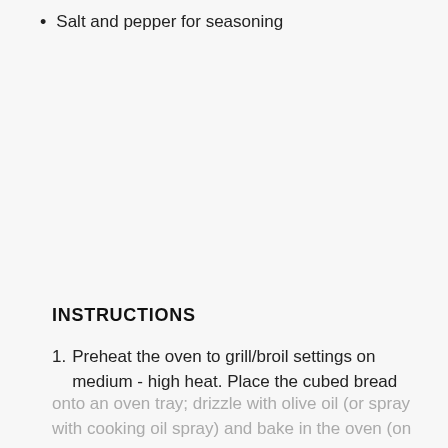Salt and pepper for seasoning
INSTRUCTIONS
1. Preheat the oven to grill/broil settings on medium - high heat. Place the cubed bread onto an oven tray; drizzle with olive oil (or spray with cooking oil spray) and bake in the oven (on